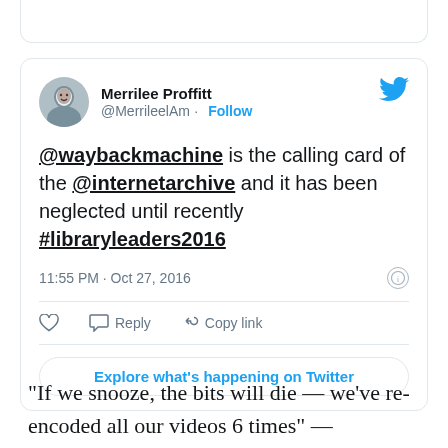[Figure (screenshot): Tweet from Merrilee Proffitt (@MerrileelAm) with Follow button and Twitter bird logo. Tweet text: '@waybackmachine is the calling card of the @internetarchive and it has been neglected until recently #libraryleaders2016'. Timestamp: 11:55 PM · Oct 27, 2016. Actions: heart, Reply, Copy link. Button: Explore what's happening on Twitter.]
“If we snooze, the bits will die — we’ve re-encoded all our videos 6 times” —